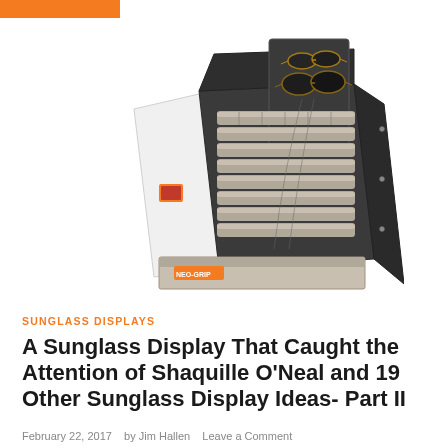[Figure (photo): A tiered sunglass display stand with dark grey/black frame, featuring stepped rows of grey cushion holders for sunglasses, a back panel with two pairs of sunglasses mounted, a drawer at the bottom, and a branded logo. A white acrylic panel with a small orange logo is visible on the left side.]
SUNGLASS DISPLAYS
A Sunglass Display That Caught the Attention of Shaquille O’Neal and 19 Other Sunglass Display Ideas- Part II
February 22, 2017   by Jim Hallen   Leave a Comment